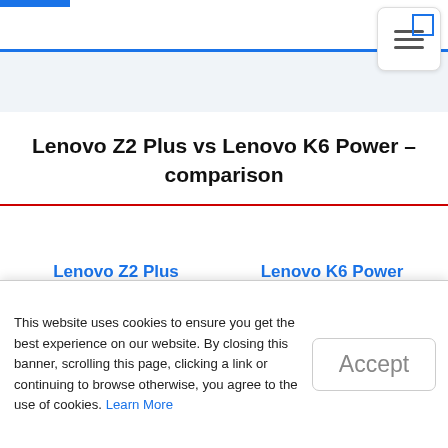Lenovo Z2 Plus vs Lenovo K6 Power - comparison
Lenovo Z2 Plus vs Lenovo K6 Power – comparison
Lenovo Z2 Plus
Change Model
Lenovo K6 Power
Change Model
This website uses cookies to ensure you get the best experience on our website. By closing this banner, scrolling this page, clicking a link or continuing to browse otherwise, you agree to the use of cookies. Learn More